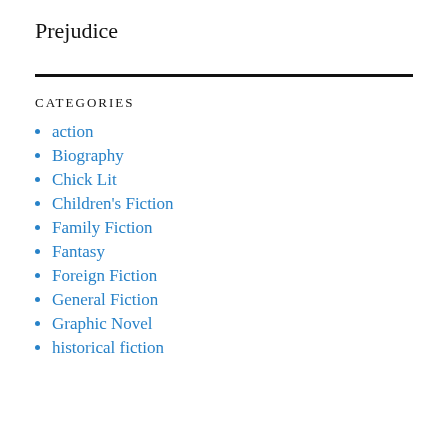Prejudice
CATEGORIES
action
Biography
Chick Lit
Children's Fiction
Family Fiction
Fantasy
Foreign Fiction
General Fiction
Graphic Novel
historical fiction